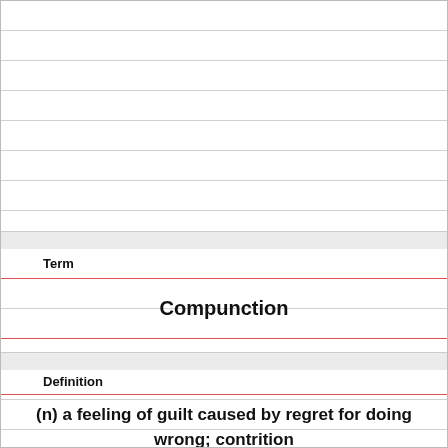Term
Compunction
Definition
(n) a feeling of guilt caused by regret for doing wrong; contrition